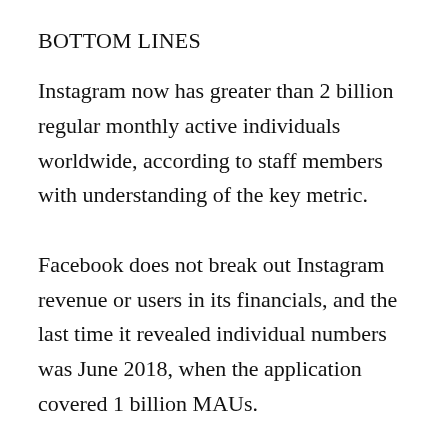BOTTOM LINES
Instagram now has greater than 2 billion regular monthly active individuals worldwide, according to staff members with understanding of the key metric. Facebook does not break out Instagram revenue or users in its financials, and the last time it revealed individual numbers was June 2018, when the application covered 1 billion MAUs. The milestone comes as Instagram deals with